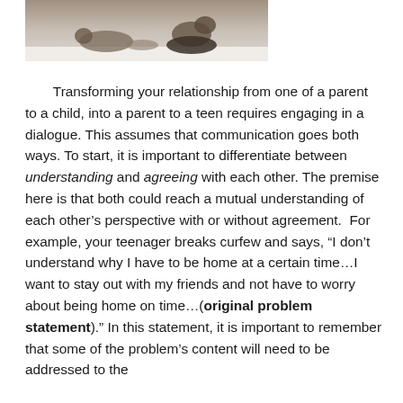[Figure (photo): Partial photo of an adult and child/teen lying on a bed or surface, cropped at top of page]
Transforming your relationship from one of a parent to a child, into a parent to a teen requires engaging in a dialogue. This assumes that communication goes both ways. To start, it is important to differentiate between understanding and agreeing with each other. The premise here is that both could reach a mutual understanding of each other’s perspective with or without agreement.  For example, your teenager breaks curfew and says, “I don’t understand why I have to be home at a certain time…I want to stay out with my friends and not have to worry about being home on time…(original problem statement).” In this statement, it is important to remember that some of the problem’s content will need to be addressed to the…